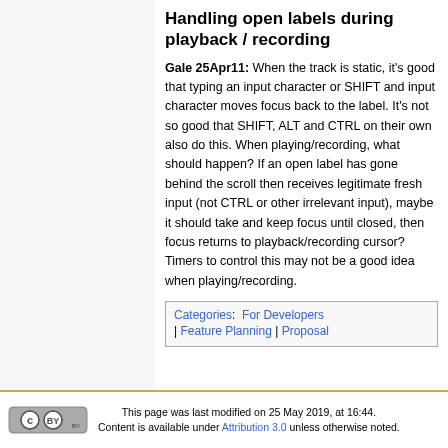Handling open labels during playback / recording
Gale 25Apr11: When the track is static, it's good that typing an input character or SHIFT and input character moves focus back to the label. It's not so good that SHIFT, ALT and CTRL on their own also do this. When playing/recording, what should happen? If an open label has gone behind the scroll then receives legitimate fresh input (not CTRL or other irrelevant input), maybe it should take and keep focus until closed, then focus returns to playback/recording cursor? Timers to control this may not be a good idea when playing/recording.
| Categories:  For Developers | Feature Planning | Proposal |
This page was last modified on 25 May 2019, at 16:44. Content is available under Attribution 3.0 unless otherwise noted.